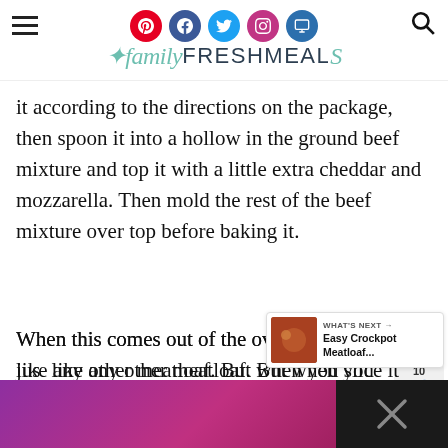familyFRESHMEALS
it according to the directions on the package, then spoon it into a hollow in the ground beef mixture and top it with a little extra cheddar and mozzarella. Then mold the rest of the beef mixture over top before baking it.
When this comes out of the oven, it looks just like any other meatloaf. But when you slice it and all that golden, creamy mac and cheese spills out, I promise you, no one will look bored.
[Figure (screenshot): Bottom advertisement bar with purple/pink gradient and close button with X icon]